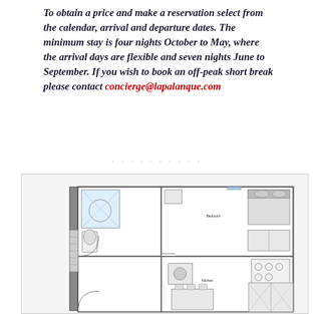To obtain a price and make a reservation select from the calendar, arrival and departure dates. The minimum stay is four nights October to May, where the arrival days are flexible and seven nights June to September. If you wish to book an off-peak short break please contact concierge@lapalanque.com
[Figure (schematic): Architectural floor plan of an apartment showing shower room, bedroom, kitchen, and other spaces with furniture layout.]